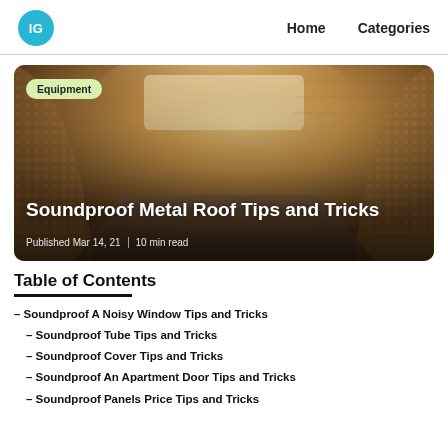IG  Home  Categories
[Figure (photo): Soundproofing room with acoustic panels on curved walls, warm amber lighting from ceiling. Badge: Equipment. Title: Soundproof Metal Roof Tips and Tricks. Published Mar 14, 21 | 10 min read]
Table of Contents
– Soundproof A Noisy Window Tips and Tricks
– Soundproof Tube Tips and Tricks
– Soundproof Cover Tips and Tricks
– Soundproof An Apartment Door Tips and Tricks
– Soundproof Panels Price Tips and Tricks